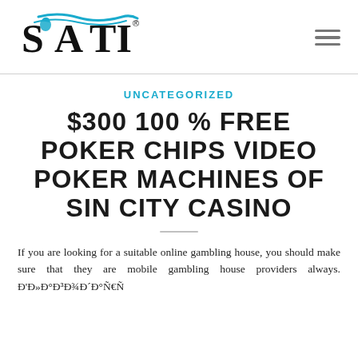SATI [logo with hamburger menu]
UNCATEGORIZED
$300 100 % FREE POKER CHIPS VIDEO POKER MACHINES OF SIN CITY CASINO
If you are looking for a suitable online gambling house, you should make sure that they are mobile gambling house providers always. Đ'Đ»Đ°Đ³Đ¾Đ´Đ°Ñ€Ñ